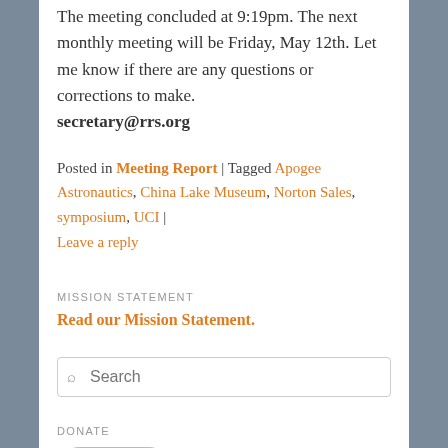The meeting concluded at 9:19pm. The next monthly meeting will be Friday, May 12th. Let me know if there are any questions or corrections to make. secretary@rrs.org
Posted in Meeting Report | Tagged Apogee Astronautics, China Lake Museum, Norton Sales, symposium, UCI | Leave a reply
MISSION STATEMENT
Read our Mission Statement.
Search
DONATE
Donate
RECENT POSTS
August 2022 monthly meeting